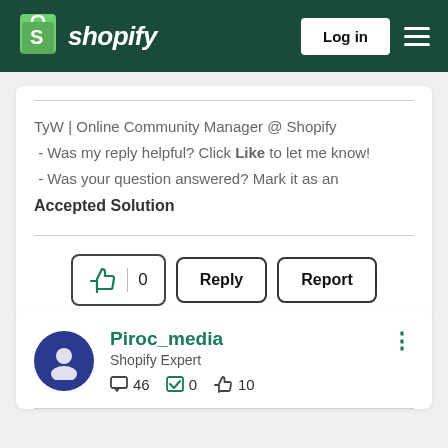Shopify — Log in
TyW | Online Community Manager @ Shopify
- Was my reply helpful? Click Like to let me know!
- Was your question answered? Mark it as an Accepted Solution
[Figure (screenshot): Action buttons: thumbs up with count 0, Reply button, Report button]
Piroc_media
Shopify Expert
46  0  10